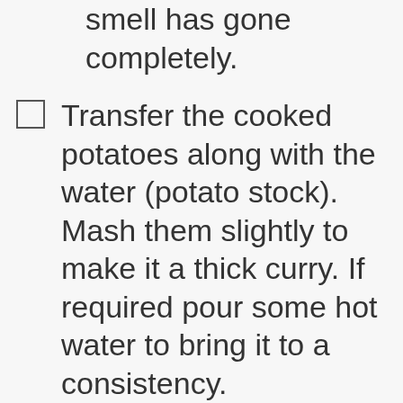smell has gone completely.
Transfer the cooked potatoes along with the water (potato stock). Mash them slightly to make it a thick curry. If required pour some hot water to bring it to a consistency.
Taste test and add more